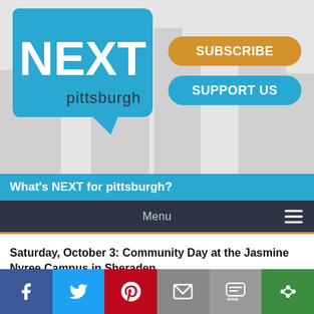[Figure (logo): NEXT pittsburgh logo — teal speech bubble with NEXT in white bold text and 'pittsburgh' in dark lowercase beneath, with city skyline silhouette background]
[Figure (other): SUBSCRIBE button — orange rounded rectangle with white bold text]
[Figure (other): SUPPORT US button — teal/blue rounded rectangle with white bold text]
What's NEXT for pittsburgh?
Menu
Saturday, October 3: Community Day at the Jasmine Nyree Campus in Sheraden
12-5 p.m.
Get a first look at the 108,000-square-foot community center that former Pittsburgh Steelers linebacker Joey Porter and his wife Christy have created inside a former West End church. The free event includes a walk with neighbors, an overview of programs an
[Figure (other): Social share bar with Facebook, Twitter, Pinterest, Email, SMS, and More/Share icons]